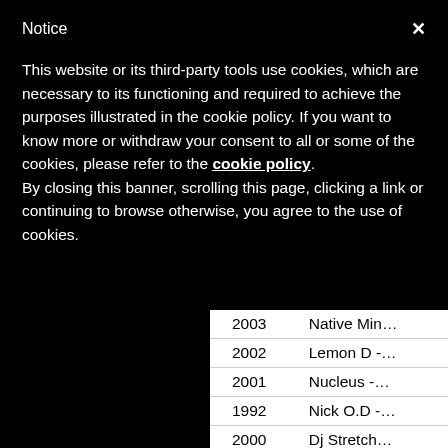Notice
This website or its third-party tools use cookies, which are necessary to its functioning and required to achieve the purposes illustrated in the cookie policy. If you want to know more or withdraw your consent to all or some of the cookies, please refer to the cookie policy.
By closing this banner, scrolling this page, clicking a link or continuing to browse otherwise, you agree to the use of cookies.
| Year | Entry |
| --- | --- |
| 2003 | Native Min… |
| 2002 | Lemon D -… |
| 2001 | Nucleus -… |
| 1992 | Nick O.D -… |
| 2000 | Dj Stretch… |
| 1996 | Procedure… |